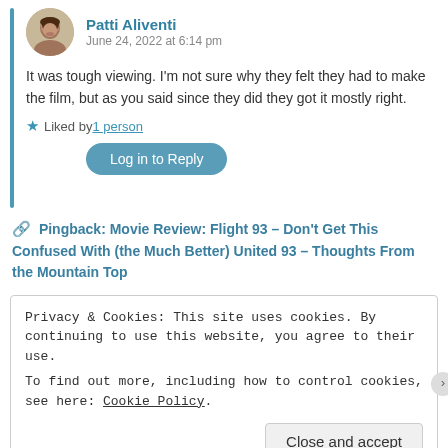[Figure (photo): Circular avatar photo of Patti Aliventi, a woman with short dark hair]
Patti Aliventi
June 24, 2022 at 6:14 pm
It was tough viewing. I'm not sure why they felt they had to make the film, but as you said since they did they got it mostly right.
★ Liked by 1 person
Log in to Reply
🔗 Pingback: Movie Review: Flight 93 – Don't Get This Confused With (the Much Better) United 93 – Thoughts From the Mountain Top
Privacy & Cookies: This site uses cookies. By continuing to use this website, you agree to their use.
To find out more, including how to control cookies, see here: Cookie Policy
Close and accept